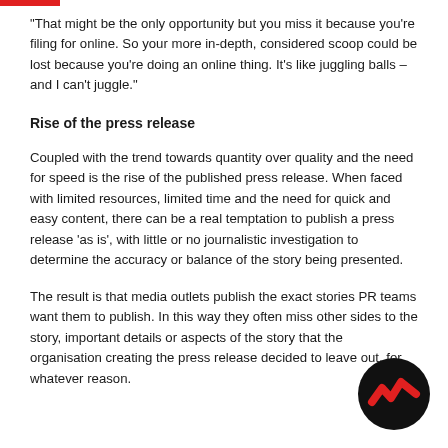“That might be the only opportunity but you miss it because you’re filing for online. So your more in-depth, considered scoop could be lost because you’re doing an online thing. It’s like juggling balls – and I can’t juggle.”
Rise of the press release
Coupled with the trend towards quantity over quality and the need for speed is the rise of the published press release. When faced with limited resources, limited time and the need for quick and easy content, there can be a real temptation to publish a press release ‘as is’, with little or no journalistic investigation to determine the accuracy or balance of the story being presented.
The result is that media outlets publish the exact stories PR teams want them to publish. In this way they often miss other sides to the story, important details or aspects of the story that the organisation creating the press release decided to leave out, for whatever reason.
[Figure (logo): Black circular logo with red zigzag/chevron pattern]